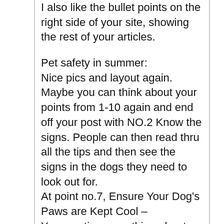I also like the bullet points on the right side of your site, showing the rest of your articles.
Pet safety in summer:
Nice pics and layout again.
Maybe you can think about your points from 1-10 again and end off your post with NO.2 Know the signs. People can then read thru all the tips and then see the signs in the dogs they need to look out for.
At point no.7, Ensure Your Dog's Paws are Kept Cool –
You mention something about not driving your dog behind a truck as the heat can burn the paws? I am not sure what you mean with this.